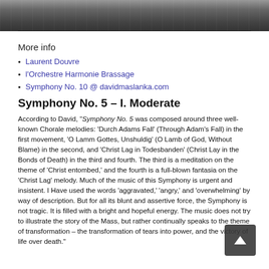[Figure (photo): A black-and-white/dark photo strip showing a musical ensemble or orchestra, with music stands and instruments visible.]
More info
Laurent Douvre
l'Orchestre Harmonie Brassage
Symphony No. 10 @ davidmaslanka.com
Symphony No. 5 – I. Moderate
According to David, "Symphony No. 5 was composed around three well-known Chorale melodies: 'Durch Adams Fall' (Through Adam's Fall) in the first movement, 'O Lamm Gottes, Unshuldig' (O Lamb of God, Without Blame) in the second, and 'Christ Lag in Todesbanden' (Christ Lay in the Bonds of Death) in the third and fourth. The third is a meditation on the theme of 'Christ entombed,' and the fourth is a full-blown fantasia on the 'Christ Lag' melody. Much of the music of this Symphony is urgent and insistent. I Have used the words 'aggravated,' 'angry,' and 'overwhelming' by way of description. But for all its blunt and assertive force, the Symphony is not tragic. It is filled with a bright and hopeful energy. The music does not try to illustrate the story of the Mass, but rather continually speaks to the theme of transformation – the transformation of tears into power, and the victory of life over death."